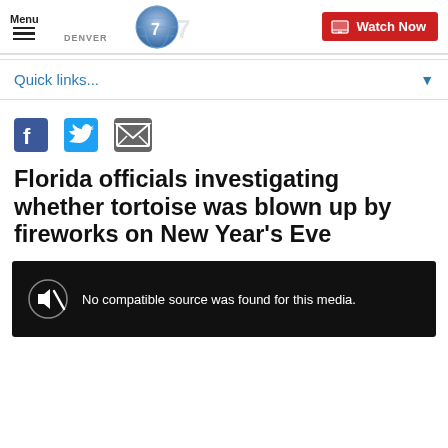Menu | Denver7 Logo | Watch Now
Quick links...
[Figure (infographic): Social sharing icons: Facebook, Twitter, Email]
Florida officials investigating whether tortoise was blown up by fireworks on New Year's Eve
[Figure (screenshot): Video player showing black screen with muted speaker icon and text: No compatible source was found for this media.]